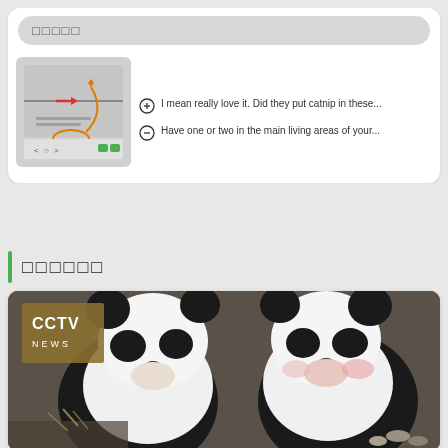□□□□□
[Figure (screenshot): Screenshot of a browser/app interface showing a map or navigation UI with orange arrow and red indicator]
I mean really love it. Did they put catnip in these...
Have one or two in the main living areas of your...
□□□□□□
[Figure (photo): CCTV NEWS branded photo of two giant pandas side by side, close-up of their faces/backs]